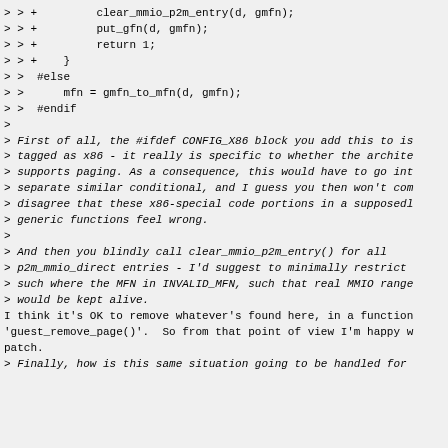> > +         clear_mmio_p2m_entry(d, gmfn);
> > +         put_gfn(d, gmfn);
> > +         return 1;
> > +    }
> >  #else
> >      mfn = gmfn_to_mfn(d, gmfn);
> >  #endif
>
> First of all, the #ifdef CONFIG_X86 block you add this to is
> tagged as x86 - it really is specific to whether the archite
> supports paging. As a consequence, this would have to go int
> separate similar conditional, and I guess you then won't com
> disagree that these x86-special code portions in a supposedl
> generic functions feel wrong.
>
> And then you blindly call clear_mmio_p2m_entry() for all
> p2m_mmio_direct entries - I'd suggest to minimally restrict
> such where the MFN in INVALID_MFN, such that real MMIO range
> would be kept alive.
I think it's OK to remove whatever's found here, in a function
'guest_remove_page()'.  So from that point of view I'm happy w
patch.
> Finally, how is this same situation going to be handled for